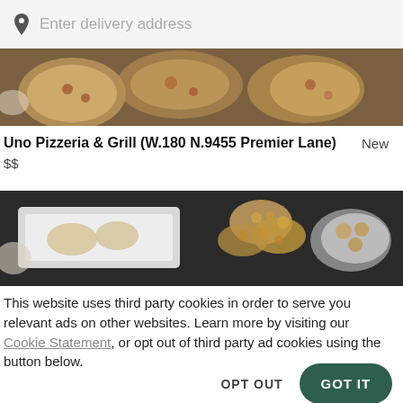Enter delivery address
[Figure (photo): Overhead food photo showing pizzas and dishes, partially visible at the top of the page]
Uno Pizzeria & Grill (W.180 N.9455 Premier Lane)  New
$$
[Figure (photo): Overhead food photo showing fried foods and white dishes on a dark table]
This website uses third party cookies in order to serve you relevant ads on other websites. Learn more by visiting our Cookie Statement, or opt out of third party ad cookies using the button below.
OPT OUT
GOT IT